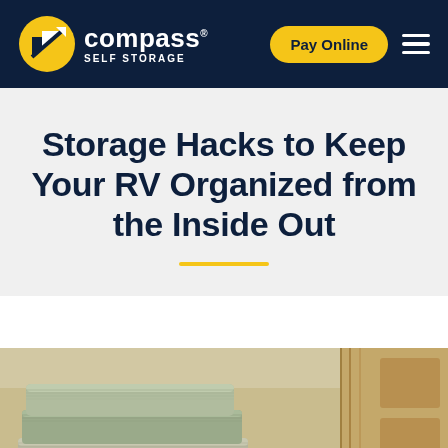compass SELF STORAGE | Pay Online
Storage Hacks to Keep Your RV Organized from the Inside Out
[Figure (photo): Photo of folded green/cream towels stacked on a surface inside an RV, with wooden cabinet visible in background]